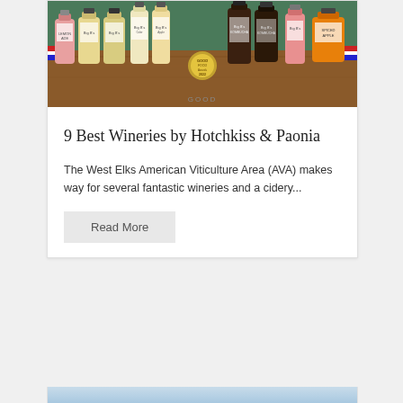[Figure (photo): Photo of multiple bottles of Big B's brand juices and ciders arranged on a wooden table with a Good Food Awards 2022 medallion visible]
9 Best Wineries by Hotchkiss & Paonia
The West Elks American Viticulture Area (AVA) makes way for several fantastic wineries and a cidery...
Read More